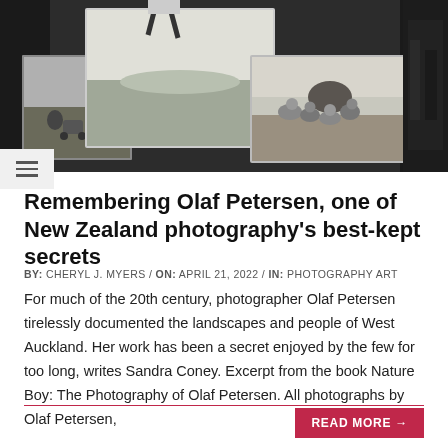[Figure (photo): Black and white photo collage showing vintage photographs of people outdoors — a child with a pram, a person leaping/running, people sitting on a beach reading, and other outdoor scenes. Sepia/monochrome tones.]
Remembering Olaf Petersen, one of New Zealand photography's best-kept secrets
BY:  CHERYL J. MYERS  /  ON:  APRIL 21, 2022  /  IN:  PHOTOGRAPHY ART
For much of the 20th century, photographer Olaf Petersen tirelessly documented the landscapes and people of West Auckland. Her work has been a secret enjoyed by the few for too long, writes Sandra Coney. Excerpt from the book Nature Boy: The Photography of Olaf Petersen. All photographs by Olaf Petersen,
READ MORE →